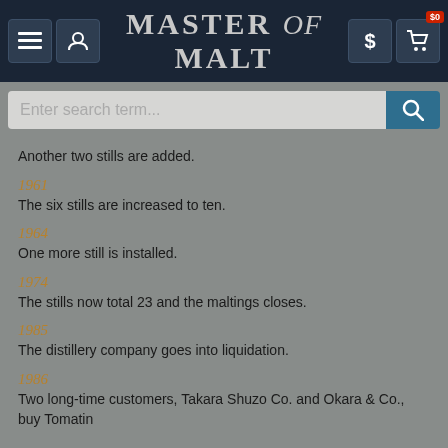Master of Malt – Navigation bar with search
Another two stills are added.
1961
The six stills are increased to ten.
1964
One more still is installed.
1974
The stills now total 23 and the maltings closes.
1985
The distillery company goes into liquidation.
1986
Two long-time customers, Takara Shuzo Co. and Okara & Co., buy Tomatin